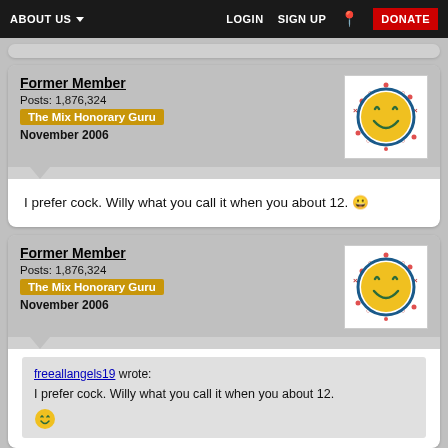ABOUT US  LOGIN  SIGN UP  DONATE
Former Member
Posts: 1,876,324
The Mix Honorary Guru
November 2006
I prefer cock. Willy what you call it when you about 12.
Former Member
Posts: 1,876,324
The Mix Honorary Guru
November 2006
freeallangels19 wrote:
I prefer cock. Willy what you call it when you about 12.